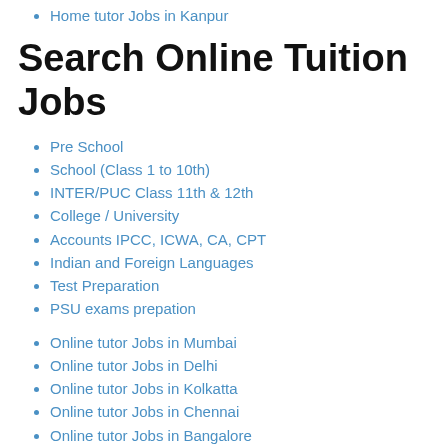Home tutor Jobs in Kanpur
Search Online Tuition Jobs
Pre School
School (Class 1 to 10th)
INTER/PUC Class 11th & 12th
College / University
Accounts IPCC, ICWA, CA, CPT
Indian and Foreign Languages
Test Preparation
PSU exams prepation
Online tutor Jobs in Mumbai
Online tutor Jobs in Delhi
Online tutor Jobs in Kolkatta
Online tutor Jobs in Chennai
Online tutor Jobs in Bangalore
Online tutor Jobs in Hyderabad
Online tutor Jobs in Pune
Online tutor Jobs in surat
Online tutor Jobs in jaipur
Online tutor Jobs in Kanpur